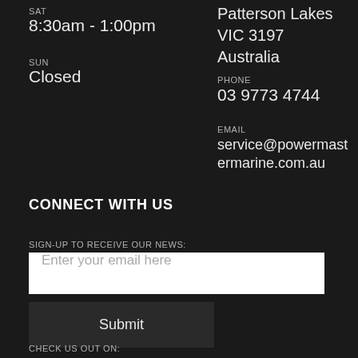SAT
8:30am - 1:00pm
SUN
Closed
Patterson Lakes VIC 3197
Australia
PHONE
03 9773 4744
EMAIL
service@powermastermarine.com.au
CONNECT WITH US
SIGN-UP TO RECEIVE OUR NEWS:
Enter your email here
Submit
CHECK US OUT ON:
[Figure (logo): Facebook logo icon in white on dark background]